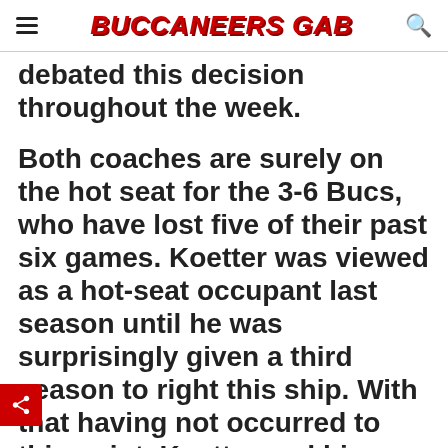BUCCANEERS GAB
debated this decision throughout the week.
Both coaches are surely on the hot seat for the 3-6 Bucs, who have lost five of their past six games. Koetter was viewed as a hot-seat occupant last season until he was surprisingly given a third season to right this ship. With that having not occurred to this point, Koetter and his